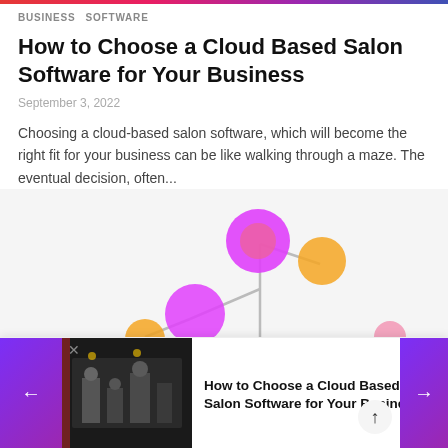BUSINESS  SOFTWARE
How to Choose a Cloud Based Salon Software for Your Business
September 3, 2022
Choosing a cloud-based salon software, which will become the right fit for your business can be like walking through a maze. The eventual decision, often...
[Figure (illustration): Abstract illustration of circles/bubbles in pink, magenta, and orange colors connected by lines, suggesting a network or comparison graphic.]
[Figure (screenshot): Bottom sticky bar showing a barbershop photo thumbnail on the left, article title 'How to Choose a Cloud Based Salon Software for Your Business' in the center, with purple navigation arrow buttons on left and right sides, a close (x) button, and a scroll-up arrow button.]